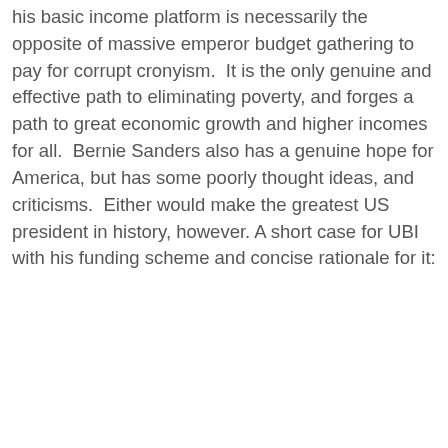his basic income platform is necessarily the opposite of massive emperor budget gathering to pay for corrupt cronyism.  It is the only genuine and effective path to eliminating poverty, and forges a path to great economic growth and higher incomes for all.  Bernie Sanders also has a genuine hope for America, but has some poorly thought ideas, and criticisms.  Either would make the greatest US president in history, however. A short case for UBI with his funding scheme and concise rationale for it: